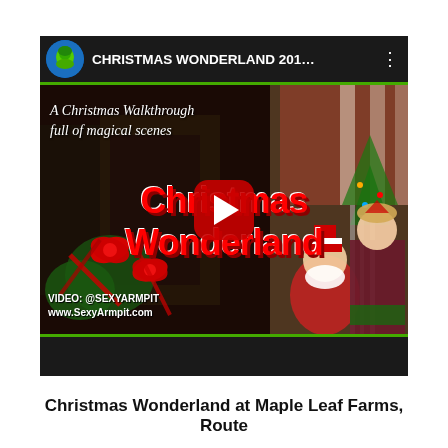[Figure (screenshot): YouTube video thumbnail for 'CHRISTMAS WONDERLAND 201...' showing a Christmas walkthrough scene with Santa Claus, an elf helper, Christmas decorations including candy canes, wreaths with red bows, and a Christmas tree. Text overlay reads 'A Christmas Walkthrough full of magical scenes' and 'Christmas Wonderland' in large red letters. A red YouTube play button is centered. Bottom left shows 'VIDEO: @SEXYARMPIT www.SexyArmpit.com'. Green bars border the top and bottom of the video frame.]
Christmas Wonderland at Maple Leaf Farms, Route